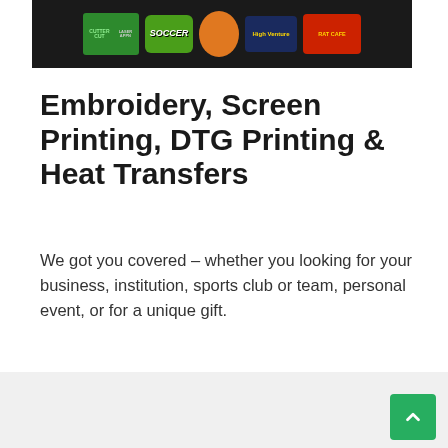[Figure (photo): Dark background with colorful embroidered/printed patches including logos for CutterCut, Soccer, High Venture, and Rat Cafe]
Embroidery, Screen Printing, DTG Printing & Heat Transfers
We got you covered – whether you looking for your business, institution, sports club or team, personal event, or for a unique gift.
[Figure (photo): Collage of three photos: a red commercial building with Denviro branding, a decorated interior staircase with red carpet and gold ceiling, and a white apron with a circular logo]